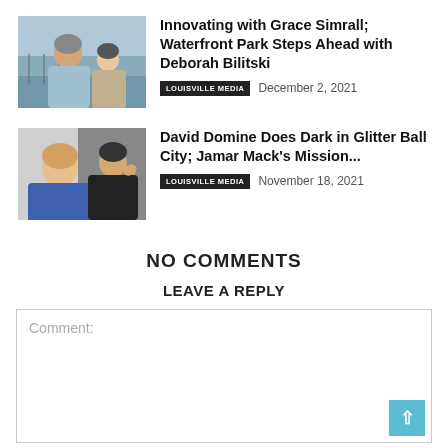[Figure (photo): Two people smiling outdoors near a waterfront fence]
Innovating with Grace Simrall; Waterfront Park Steps Ahead with Deborah Bilitski
LOUISVILLE MEDIA   December 2, 2021
[Figure (photo): Two men posing for a selfie, one waving]
David Domine Does Dark in Glitter Ball City; Jamar Mack's Mission...
LOUISVILLE MEDIA   November 18, 2021
NO COMMENTS
LEAVE A REPLY
Comment: